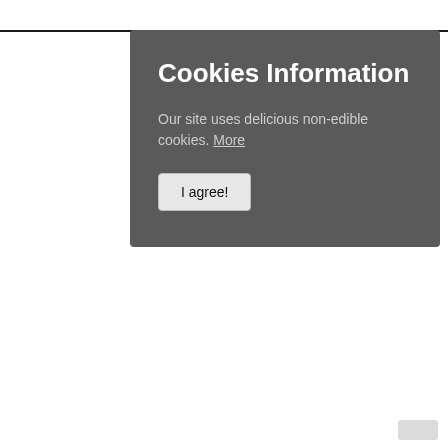[Figure (screenshot): Cookie consent modal dialog with dark grey background. Contains title 'Cookies Information', body text 'Our site uses delicious non-edible cookies. More', and an 'I agree!' button.]
Cookies Information
Our site uses delicious non-edible cookies. More
I agree!